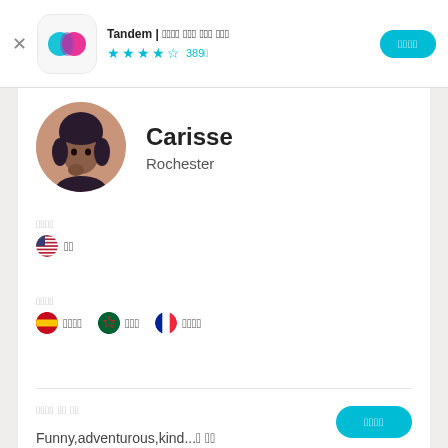Tandem | 언어 교환 파트너 찾기 ★★★★☆ 389개
Carisse
Rochester
모국어
🇺🇸 영어
학습 중
🇪🇸 스페인어  🇲🇦 아랍어  🇫🇷 프랑스어
나에 대한 소개
Funny,adventurous,kind...더 보기